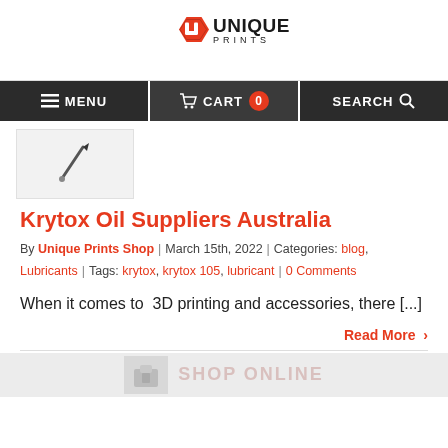[Figure (logo): Unique Prints logo — red hexagonal badge with white U-shape, UNIQUE text in bold black, PRINTS text below in spaced black caps]
MENU | CART 0 | SEARCH
[Figure (illustration): Small thumbnail image with pencil/pen icon on light grey background]
Krytox Oil Suppliers Australia
By Unique Prints Shop | March 15th, 2022 | Categories: blog, Lubricants | Tags: krytox, krytox 105, lubricant | 0 Comments
When it comes to  3D printing and accessories, there [...]
Read More >
[Figure (illustration): Footer strip with icon and SHOP ONLINE text in faded pink/red on grey background]